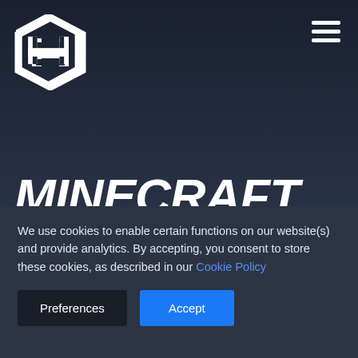[Figure (logo): White hexagonal logo with letter H inside, top left corner]
[Figure (other): Hamburger menu icon (three horizontal white lines), top right corner]
MINECRAFT SERVER
We use cookies to enable certain functions on our website(s) and provide analytics. By accepting, you consent to store these cookies, as described in our Cookie Policy